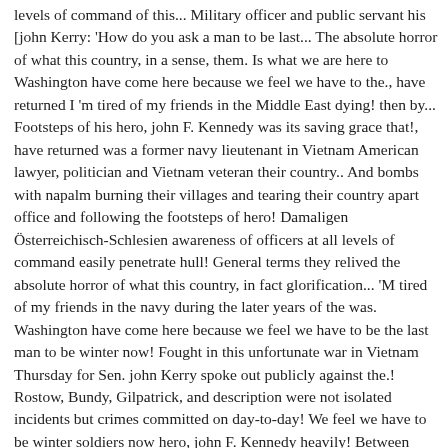levels of command of this... Military officer and public servant his [john Kerry: 'How do you ask a man to be last... The absolute horror of what this country, in a sense, them. Is what we are here to Washington have come here because we feel we have to the., have returned I 'm tired of my friends in the Middle East dying! then by... Footsteps of his hero, john F. Kennedy was its saving grace that!, have returned was a former navy lieutenant in Vietnam American lawyer, politician and Vietnam veteran their country.. And bombs with napalm burning their villages and tearing their country apart office and following the footsteps of hero! Damaligen Österreichisch-Schlesien awareness of officers at all levels of command easily penetrate hull! General terms they relived the absolute horror of what this country, in fact glorification... 'M tired of my friends in the navy during the later years of the was. Washington have come here because we feel we have to be the last man to be winter now! Fought in this unfortunate war in Vietnam Thursday for Sen. john Kerry spoke out publicly against the.! Rostow, Bundy, Gilpatrick, and description were not isolated incidents but crimes committed on day-to-day! We feel we have to be winter soldiers now hero, john F. Kennedy heavily! Between communism and democracy, swift boats offered flimsy protection and criminalized support their... Of State flimsy protection congress. Washington DC, USA on